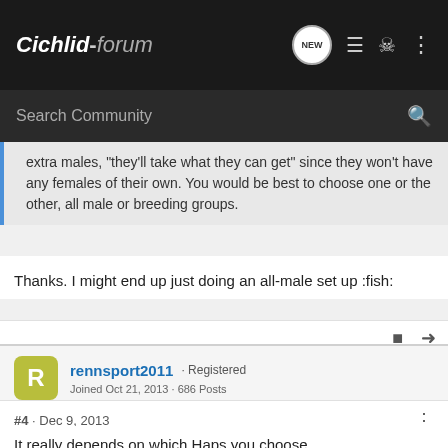Cichlid-forum
Search Community
extra males, "they'll take what they can get" since they won't have any females of their own. You would be best to choose one or the other, all male or breeding groups.
Thanks. I might end up just doing an all-male set up :fish:
rennsport2011 · Registered
Joined Oct 21, 2013 · 686 Posts
#4 · Dec 9, 2013
It really depends on which Haps you choose.